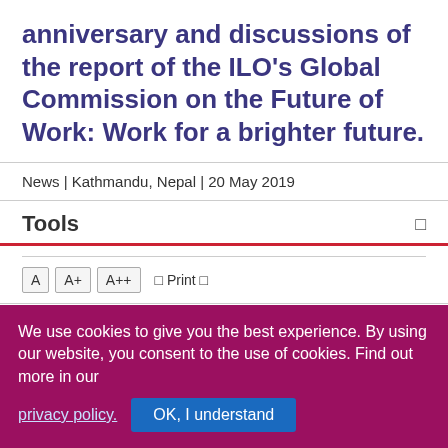anniversary and discussions of the report of the ILO's Global Commission on the Future of Work: Work for a brighter future.
News | Kathmandu, Nepal | 20 May 2019
Tools
A  A+  A++  Print
Share this content
We use cookies to give you the best experience. By using our website, you consent to the use of cookies. Find out more in our privacy policy.  OK, I understand